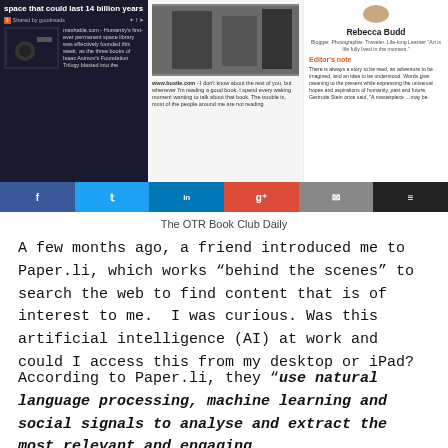[Figure (screenshot): Screenshot of The OTR Book Club Daily paper.li page showing three content columns: left column with dark background about a space library story, middle column with a photo and bustle.com article excerpt, right column with Rebecca Budd blogger profile and editor's note]
[Figure (infographic): Social share bar with six buttons: Facebook (blue), Twitter (light blue), LinkedIn (dark blue), Google+ (red), Email (grey), Bookmarks (black)]
The OTR Book Club Daily
A few months ago, a friend introduced me to Paper.li, which works “behind the scenes” to search the web to find content that is of interest to me.  I was curious. Was this artificial intelligence (AI) at work and could I access this from my desktop or iPad?
According to Paper.li, they “use natural language processing, machine learning and social signals to analyse and extract the most relevant and engaging